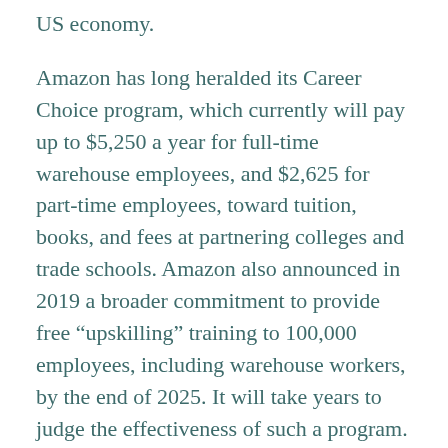US economy.
Amazon has long heralded its Career Choice program, which currently will pay up to $5,250 a year for full-time warehouse employees, and $2,625 for part-time employees, toward tuition, books, and fees at partnering colleges and trade schools. Amazon also announced in 2019 a broader commitment to provide free “upskilling” training to 100,000 employees, including warehouse workers, by the end of 2025. It will take years to judge the effectiveness of such a program.
In the meantime, Amazon workers are trying to change the company from the inside. In April, an Amazon warehouse in Staten Island, New York, became the first in the US to successfully vote to